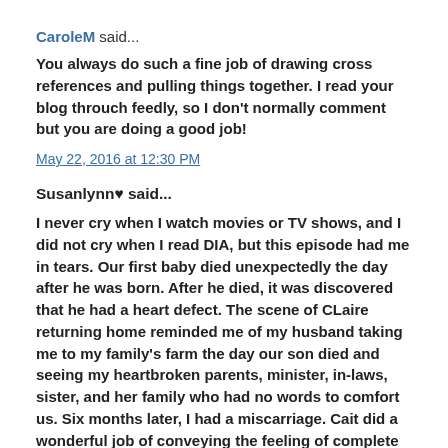CaroleM said...
You always do such a fine job of drawing cross references and pulling things together. I read your blog throuch feedly, so I don't normally comment but you are doing a good job!
May 22, 2016 at 12:30 PM
Susanlynn♥ said...
I never cry when I watch movies or TV shows, and I did not cry when I read DIA, but this episode had me in tears. Our first baby died unexpectedly the day after he was born. After he died, it was discovered that he had a heart defect. The scene of CLaire returning home reminded me of my husband taking me to my family's farm the day our son died and seeing my heartbroken parents, minister, in-laws, sister, and her family who had no words to comfort us. Six months later, I had a miscarriage. Cait did a wonderful job of conveying the feeling of complete loss , helplessness, and desperation that a mother